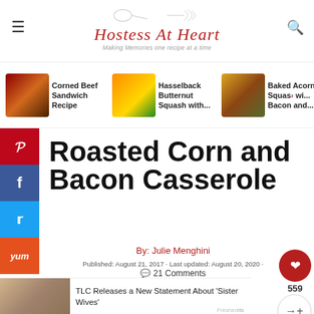Hostess At Heart — Making Memories one recipe at a time
[Figure (screenshot): Navigation thumbnail for Corned Beef Sandwich Recipe]
Corned Beef Sandwich Recipe
[Figure (screenshot): Navigation thumbnail for Hasselback Butternut Squash with...]
Hasselback Butternut Squash with...
[Figure (screenshot): Navigation thumbnail for Baked Acorn Squash with Bacon and...]
Baked Acorn Squash with Bacon and...
Roasted Corn and Bacon Casserole
By: Julie Menghini
Published: August 21, 2017 · Last updated: August 20, 2020 · 21 Comments
[Figure (screenshot): Bottom ad: TLC Releases a New Statement About 'Sister Wives']